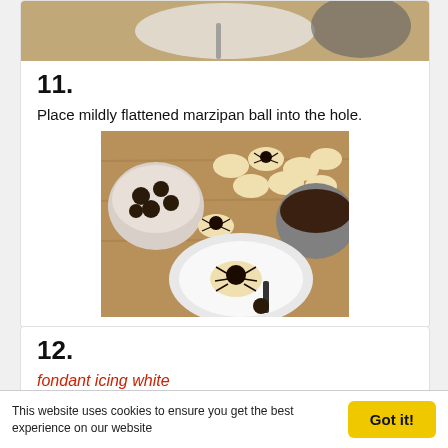[Figure (photo): Partial photo visible at top of page showing a plate and kitchen tools from a previous step]
11.
Place mildly flattened marzipan ball into the hole.
[Figure (photo): Photo showing cookies with dark chocolate marzipan spider decorations on a wooden board, with a bowl of dark chocolate balls on the left and a pot of melted chocolate on the right, and a close-up of one spider cookie on a white plate in the foreground]
12.
fondant icing white
This website uses cookies to ensure you get the best experience on our website   Got it!